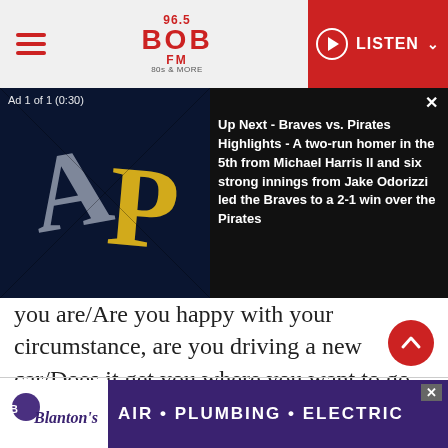[Figure (screenshot): 96.5 BOB FM radio station website header with hamburger menu, logo, and red LISTEN button]
[Figure (screenshot): Video ad overlay: Ad 1 of 1 (0:30) showing Braves vs Pirates baseball logos on dark background with text about upcoming highlights]
you are/Are you happy with your circumstance, are you driving a new car/Does it get you where you want to go, with a seven-year warranty/Or just another hundred thousand miles away/From the days that used to be.” Even in his mid-40s, Young was upset about people selling out.
[Figure (screenshot): Blanton's Air Plumbing Electric advertisement banner at the bottom of the page]